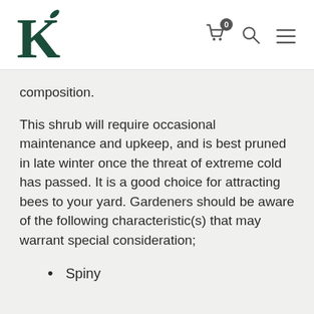K [logo] | cart (0) | search | menu
composition.
This shrub will require occasional maintenance and upkeep, and is best pruned in late winter once the threat of extreme cold has passed. It is a good choice for attracting bees to your yard. Gardeners should be aware of the following characteristic(s) that may warrant special consideration;
Spiny